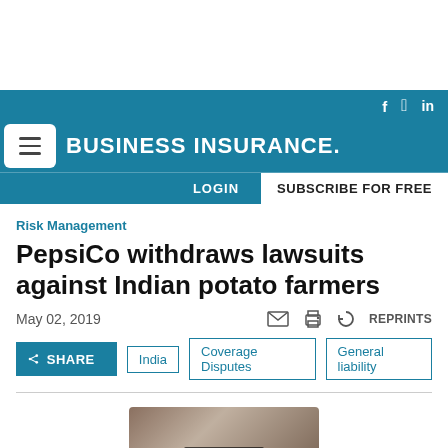BUSINESS INSURANCE
Risk Management
PepsiCo withdraws lawsuits against Indian potato farmers
May 02, 2019
REPRINTS
SHARE
India
Coverage Disputes
General liability
[Figure (photo): Photo of a mobile phone on a wooden surface]